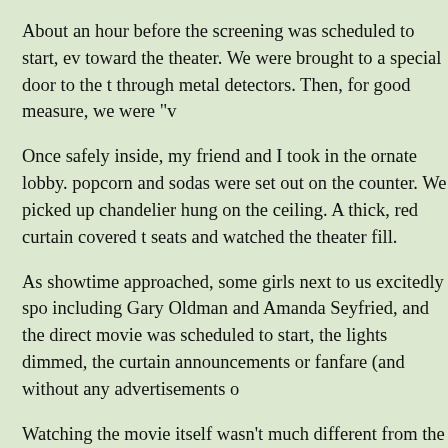About an hour before the screening was scheduled to start, ev toward the theater. We were brought to a special door to the t through metal detectors. Then, for good measure, we were "v
Once safely inside, my friend and I took in the ornate lobby. popcorn and sodas were set out on the counter. We picked up chandelier hung on the ceiling. A thick, red curtain covered t seats and watched the theater fill.
As showtime approached, some girls next to us excitedly spo including Gary Oldman and Amanda Seyfried, and the direct movie was scheduled to start, the lights dimmed, the curtain announcements or fanfare (and without any advertisements o
Watching the movie itself wasn't much different from the usu the opening credits rolled, there was applause when the name appeared on the screen. Also, when the audience applauded a definitely heard by people who worked on the movie.
When the movie was over, we followed the throngs of people lobby, was redirected to Catherine Hardwick, and to Adri